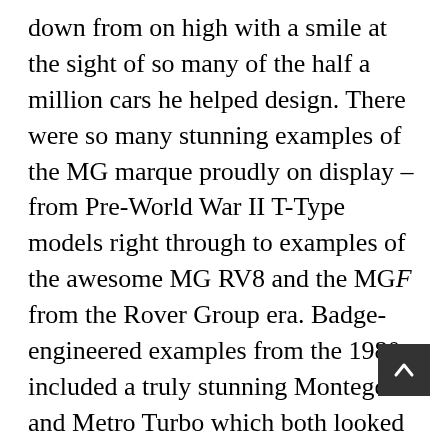down from on high with a smile at the sight of so many of the half a million cars he helped design. There were so many stunning examples of the MG marque proudly on display – from Pre-World War II T-Type models right through to examples of the awesome MG RV8 and the MGF from the Rover Group era. Badge-engineered examples from the 1980s included a truly stunning Montego and Metro Turbo which both looked resplendent in black.

There was something for everybody w displays by Russ Swift, M.A.D., the world's